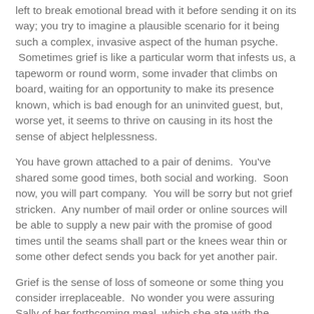left to break emotional bread with it before sending it on its way; you try to imagine a plausible scenario for it being such a complex, invasive aspect of the human psyche. Sometimes grief is like a particular worm that infests us, a tapeworm or round worm, some invader that climbs on board, waiting for an opportunity to make its presence known, which is bad enough for an uninvited guest, but, worse yet, it seems to thrive on causing in its host the sense of abject helplessness.
You have grown attached to a pair of denims. You've shared some good times, both social and working. Soon now, you will part company. You will be sorry but not grief stricken. Any number of mail order or online sources will be able to supply a new pair with the promise of good times until the seams shall part or the knees wear thin or some other defect sends you back for yet another pair.
Grief is the sense of loss of someone or some thing you consider irreplaceable. No wonder you were assuring Sally of her forthcoming meal, which she ate with the considerable gusto she appends to everything she does. You were